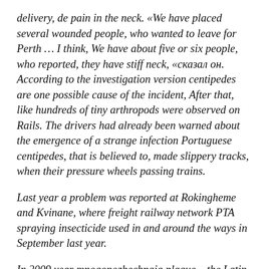delivery, de pain in the neck. «We have placed several wounded people, who wanted to leave for Perth … I think, We have about five or six people, who reported, they have stiff neck, «сказал он. According to the investigation version centipedes are one possible cause of the incident, After that, like hundreds of tiny arthropods were observed on Rails. The drivers had already been warned about the emergence of a strange infection Portuguese centipedes, that is believed to, made slippery tracks, when their pressure wheels passing trains.
Last year a problem was reported at Rokingheme and Kvinane, where freight railway network PTA spraying insecticide used in and around the ways in September last year.
In 2009 year mnogonozhechnaja plague – the Latin name Ommatoiulus moreletii – captured tracks Tallaruk in downtown Victoria, causing several trains were canceled. Traffic on the line